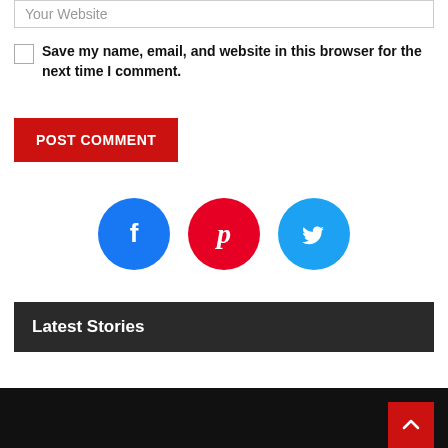Your Website
Save my name, email, and website in this browser for the next time I comment.
POST COMMENT
[Figure (illustration): Three social media icon circles: Facebook (blue), Pinterest (red), Twitter (light blue)]
Latest Stories
[Figure (illustration): Black footer area with partial logo/graphic elements and a red scroll-to-top button with upward arrow]